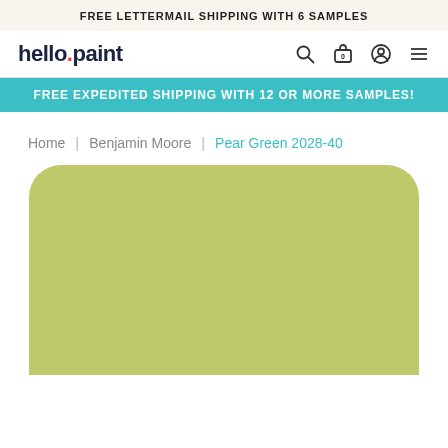FREE LETTERMAIL SHIPPING WITH 6 SAMPLES
[Figure (logo): hello.paint logo with red dot, and navigation icons: search, cart (0), account, menu]
FREE EXPEDITED SHIPPING WITH 12 OR MORE SAMPLES!
Home | Benjamin Moore | Pear Green 2028-40
[Figure (illustration): Large rounded rectangle color swatch showing Pear Green 2028-40 paint color, a warm yellow-green (lime/pear) tone]